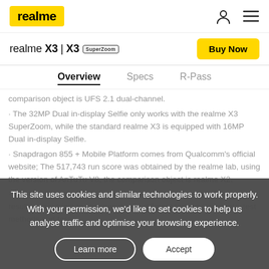realme
realme X3 | X3 SuperZoom
Overview | Specs | R-Pass
comparison object is UFS 2.1 dual-channel.
· The 32MP Dual in-display Selfie only works with the realme X3 SuperZoom, while the standard realme X3 is equipped with 16MP Dual in-display Selfie.
· Snapdragon 855 + Mobile Platform comes from Qualcomm's official website; The 517,743 run score was obtained by the realme lab, using the version of AnTuTu V8, the comparison object is realme X2.
· The test data of Liquid Cooling are from the realme lab. The test results are subject to changes due to different test environments, test methods and test
This site uses cookies and similar technologies to work properly. With your permission, we'd like to set cookies to help us analyse traffic and optimise your browsing experience.